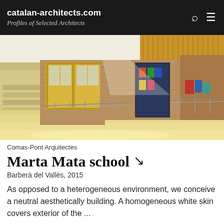catalan-architects.com
Profiles of Selected Architects
[Figure (photo): Interior of a modern school building showing a spacious lobby with polished stone floor, brick/stone walls, glass entry doors with yellow frames, metal railings, and a slatted wooden ceiling with warm lighting.]
Comas-Pont Arquitectes
Marta Mata school
Barberà del Vallès, 2015
As opposed to a heterogeneous environment, we conceive a neutral aesthetically building. A homogeneous white skin covers exterior of the ...